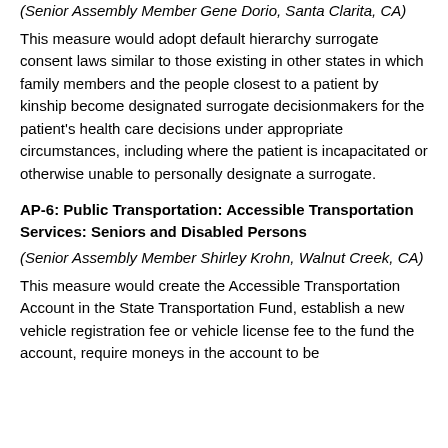(Senior Assembly Member Gene Dorio, Santa Clarita, CA)
This measure would adopt default hierarchy surrogate consent laws similar to those existing in other states in which family members and the people closest to a patient by kinship become designated surrogate decisionmakers for the patient's health care decisions under appropriate circumstances, including where the patient is incapacitated or otherwise unable to personally designate a surrogate.
AP-6: Public Transportation: Accessible Transportation Services: Seniors and Disabled Persons
(Senior Assembly Member Shirley Krohn, Walnut Creek, CA)
This measure would create the Accessible Transportation Account in the State Transportation Fund, establish a new vehicle registration fee or vehicle license fee to the fund the account, require moneys in the account to be